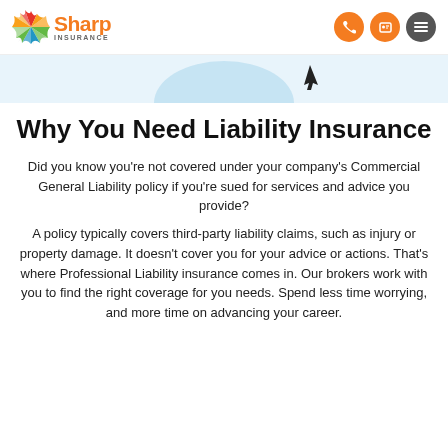Sharp Insurance
[Figure (illustration): Partial decorative image with light blue circular shape and dark cursor/arrow element visible at top center of page]
Why You Need Liability Insurance
Did you know you’re not covered under your company’s Commercial General Liability policy if you’re sued for services and advice you provide?
A policy typically covers third-party liability claims, such as injury or property damage. It doesn’t cover you for your advice or actions. That’s where Professional Liability insurance comes in. Our brokers work with you to find the right coverage for you needs. Spend less time worrying, and more time on advancing your career.